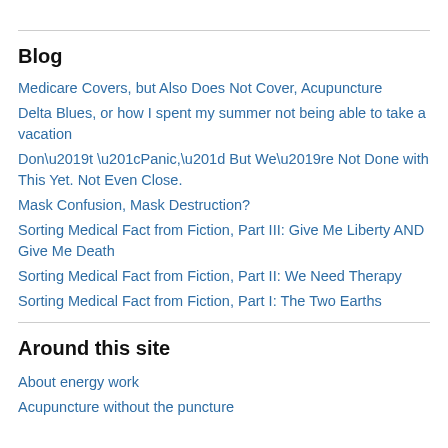Blog
Medicare Covers, but Also Does Not Cover, Acupuncture
Delta Blues, or how I spent my summer not being able to take a vacation
Don’t “Panic,” But We’re Not Done with This Yet. Not Even Close.
Mask Confusion, Mask Destruction?
Sorting Medical Fact from Fiction, Part III: Give Me Liberty AND Give Me Death
Sorting Medical Fact from Fiction, Part II: We Need Therapy
Sorting Medical Fact from Fiction, Part I: The Two Earths
Around this site
About energy work
Acupuncture without the puncture